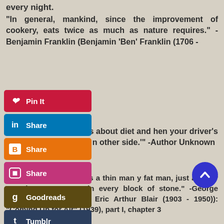every night.
“In general, mankind, since the improvement of cookery, eats twice as much as nature requires.” - Benjamin Franklin (Benjamin ‘Ben’ Franklin (1706 -
[Figure (screenshot): Social sharing buttons: Pinterest Pin It, LinkedIn Share, Blogger Share, Instagram Share, Goodreads, Tumblr, More]
it is time to get serious about diet and hen your driver’s license reads, ‘Picture n other side.’” -Author Unknown
r struck you that there’s a thin man y fat man, just as they say there’s a statue in every block of stone.” -George Orwell (pseudonym of Eric Arthur Blair (1903 - 1950)): “Coming Up for Air” (1939), part I, chapter 3